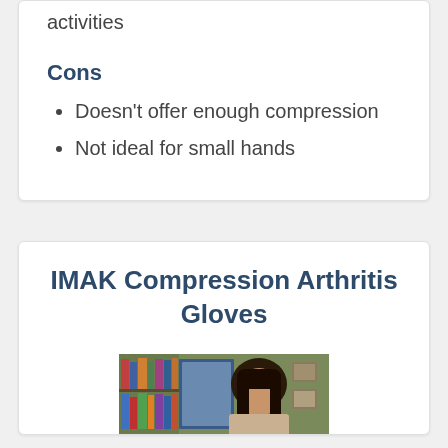activities
Cons
Doesn't offer enough compression
Not ideal for small hands
IMAK Compression Arthritis Gloves
[Figure (photo): Photo of a woman wearing arthritis compression gloves, shown in a room with bookshelves and framed pictures in the background.]